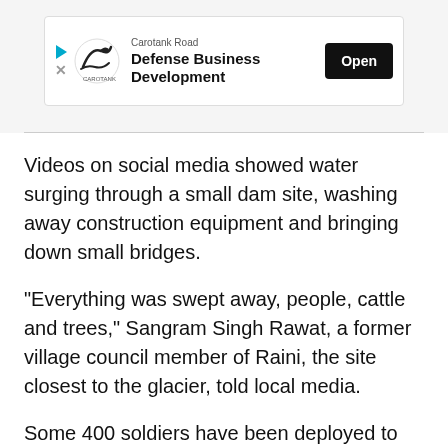[Figure (screenshot): Advertisement banner for Carotank Road Defense Business Development with an Open button]
Videos on social media showed water surging through a small dam site, washing away construction equipment and bringing down small bridges.
"Everything was swept away, people, cattle and trees," Sangram Singh Rawat, a former village council member of Raini, the site closest to the glacier, told local media.
Some 400 soldiers have been deployed to the site in the remote mountains, state authorities said.